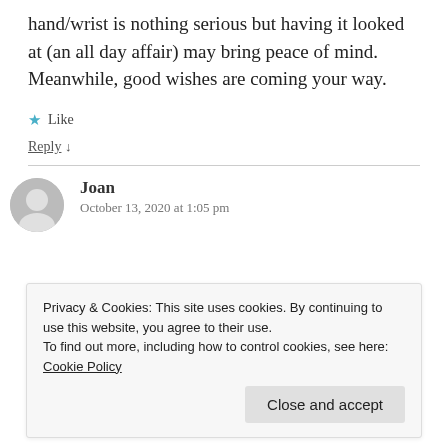hand/wrist is nothing serious but having it looked at (an all day affair) may bring peace of mind. Meanwhile, good wishes are coming your way.
★ Like
Reply ↓
Joan
October 13, 2020 at 1:05 pm
Privacy & Cookies: This site uses cookies. By continuing to use this website, you agree to their use.
To find out more, including how to control cookies, see here: Cookie Policy
Close and accept